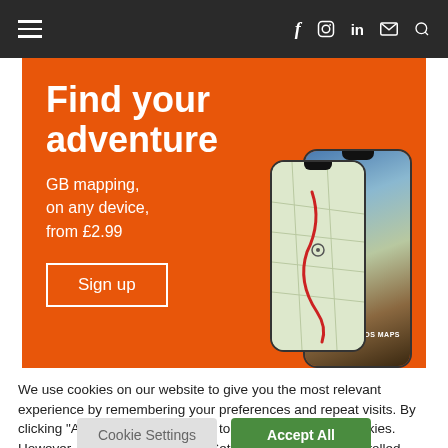Navigation bar with hamburger menu and social icons: f, Instagram, in, mail, search
[Figure (illustration): Orange advertisement banner for OS Maps app. Headline: 'Find your adventure'. Subtext: 'GB mapping, on any device, from £2.99'. Button: 'Sign up'. Two mobile phones showing map and scenic cliff imagery on the right side.]
We use cookies on our website to give you the most relevant experience by remembering your preferences and repeat visits. By clicking "Accept All", you consent to the use of ALL the cookies. However, you may visit "Cookie Settings" to provide a controlled consent.
Cookie Settings
Accept All